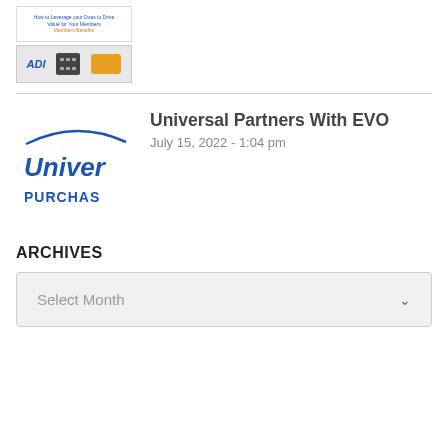[Figure (screenshot): Thumbnail image showing a blog post preview with text and logos including ADI, a calculator icon, and an orange logo]
Universal Partners With EVO
July 15, 2022 - 1:04 pm
[Figure (logo): Universal Purchasing logo showing blue curved line and blue text reading 'Univer PURCHAS']
ARCHIVES
Select Month